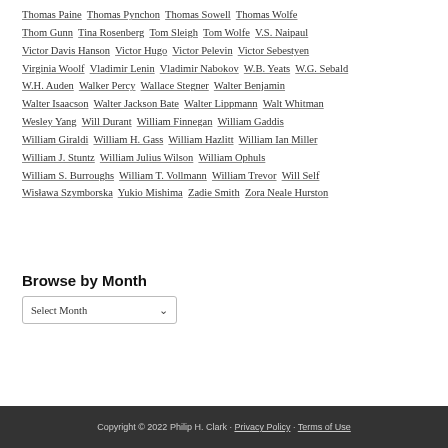Thomas Paine  Thomas Pynchon  Thomas Sowell  Thomas Wolfe  Thom Gunn  Tina Rosenberg  Tom Sleigh  Tom Wolfe  V.S. Naipaul  Victor Davis Hanson  Victor Hugo  Victor Pelevin  Victor Sebestyen  Virginia Woolf  Vladimir Lenin  Vladimir Nabokov  W.B. Yeats  W.G. Sebald  W.H. Auden  Walker Percy  Wallace Stegner  Walter Benjamin  Walter Isaacson  Walter Jackson Bate  Walter Lippmann  Walt Whitman  Wesley Yang  Will Durant  William Finnegan  William Gaddis  William Giraldi  William H. Gass  William Hazlitt  William Ian Miller  William J. Stuntz  William Julius Wilson  William Ophuls  William S. Burroughs  William T. Vollmann  William Trevor  Will Self  Wisława Szymborska  Yukio Mishima  Zadie Smith  Zora Neale Hurston
Browse by Month
Select Month
Copyright © 2022 Philip H. Clark · Privacy Policy · Terms of Use